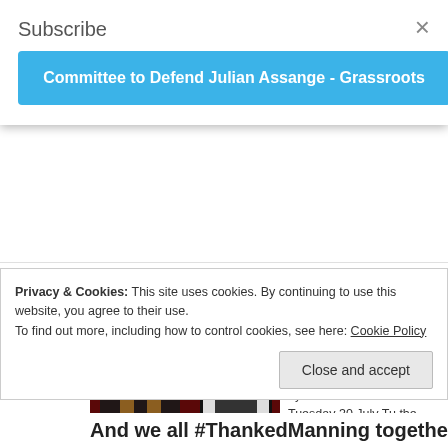Subscribe
×
Committee to Defend Julian Assange - Grassroots
Posted on August 7, 2013 by wiseupwales
[Figure (photo): A person with long hair speaking at a podium, with a Bradley Manning poster in the background on a red wall]
This gallery contains 8 photos. by Ciaron O'Reilly Photos by Nas the verdict on Tuesday 30 July Tu the Bradley Manning court martia since 3 June at Fort … Continue r
Privacy & Cookies: This site uses cookies. By continuing to use this website, you agree to their use.
To find out more, including how to control cookies, see here: Cookie Policy
Close and accept
And we all #ThankedManning together at